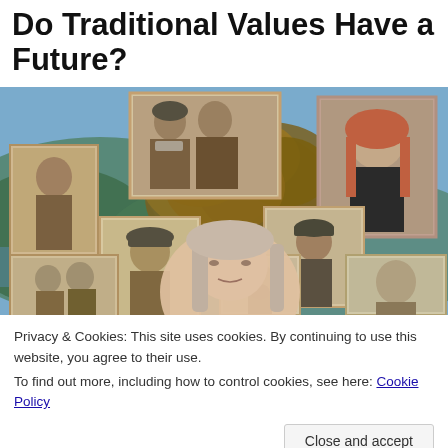Do Traditional Values Have a Future?
[Figure (photo): Photo collage of multiple generations of family portraits — black and white and sepia vintage photos of various people overlaid on a nature background with trees and landscape. A young girl's face is prominent in the center-bottom area.]
Privacy & Cookies: This site uses cookies. By continuing to use this website, you agree to their use.
To find out more, including how to control cookies, see here: Cookie Policy
Close and accept